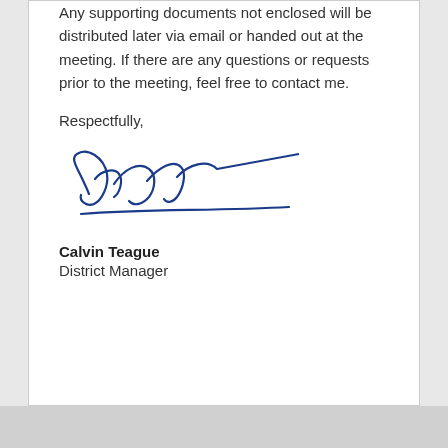Any supporting documents not enclosed will be distributed later via email or handed out at the meeting. If there are any questions or requests prior to the meeting, feel free to contact me.
Respectfully,
[Figure (illustration): Handwritten signature of Calvin Teague in blue ink, cursive style with long horizontal stroke]
Calvin Teague
District Manager